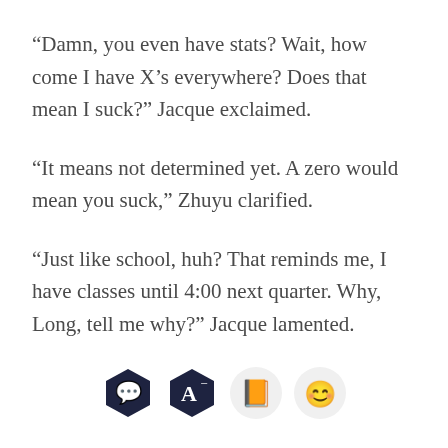“Damn, you even have stats? Wait, how come I have X’s everywhere? Does that mean I suck?” Jacque exclaimed.
“It means not determined yet. A zero would mean you suck,” Zhuyu clarified.
“Just like school, huh? That reminds me, I have classes until 4:00 next quarter. Why, Long, tell me why?” Jacque lamented.
[Figure (other): Four app/interface icons in a row: a dark hexagon with a speech bubble, a dark hexagon with letter A and superscript minus, a light circle with an orange book, and a light circle with a happy face emoji]